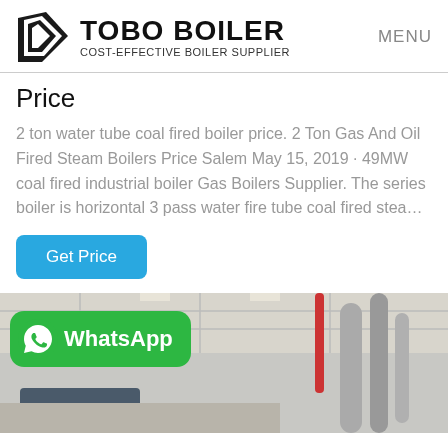TOBO BOILER COST-EFFECTIVE BOILER SUPPLIER | MENU
Price
2 ton water tube coal fired boiler price. 2 Ton Gas And Oil Fired Steam Boilers Price Salem May 15, 2019 · 49MW coal fired industrial boiler Gas Boilers Supplier. The series boiler is horizontal 3 pass water fire tube coal fired stea…
[Figure (screenshot): Blue 'Get Price' button]
[Figure (photo): Industrial boiler room interior with pipes and equipment visible, with a WhatsApp button overlay in green showing WhatsApp logo and text 'WhatsApp']